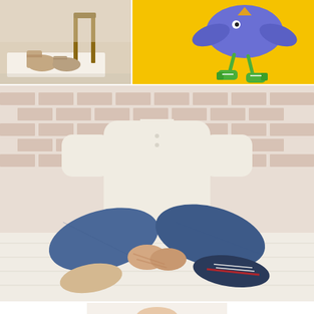[Figure (photo): Photo of shoes arranged on white paper near a wooden chair, on a light beige background]
[Figure (illustration): Cartoon illustration of a bird character wearing green shoes, flying against a bright yellow background]
[Figure (photo): Photo of a person sitting cross-legged on a white wooden floor wearing jeans, white henley shirt and dark blue sneakers with red accents, brick wall background]
[Figure (photo): Photo of a young woman with hair in a bun, wearing a white tank top, upper body visible, neutral background]